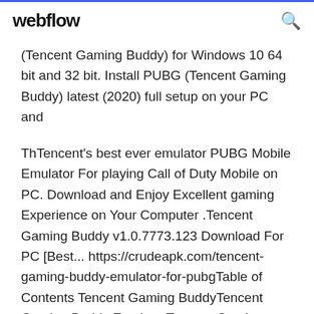webflow
(Tencent Gaming Buddy) for Windows 10 64 bit and 32 bit. Install PUBG (Tencent Gaming Buddy) latest (2020) full setup on your PC and
ThTencent's best ever emulator PUBG Mobile Emulator For playing Call of Duty Mobile on PC. Download and Enjoy Excellent gaming Experience on Your Computer .Tencent Gaming Buddy v1.0.7773.123 Download For PC [Best... https://crudeapk.com/tencent-gaming-buddy-emulator-for-pubgTable of Contents Tencent Gaming BuddyTencent Gaming Buddy EmulatorTencent Gaming Buddy SoftwareHow To Download Tencent Gaming Buddy in PCTencent Gaming Buddy FeaturesTencent